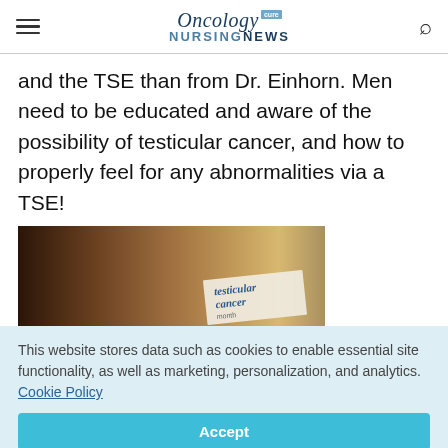Oncology NURSING NEWS
and the TSE than from Dr. Einhorn. Men need to be educated and aware of the possibility of testicular cancer, and how to properly feel for any abnormalities via a TSE!
[Figure (photo): Photo of testicular cancer awareness brochures or pamphlets stacked on a surface, with text 'testicular cancer month' visible in blue italic font]
This website stores data such as cookies to enable essential site functionality, as well as marketing, personalization, and analytics. Cookie Policy
Accept
Deny